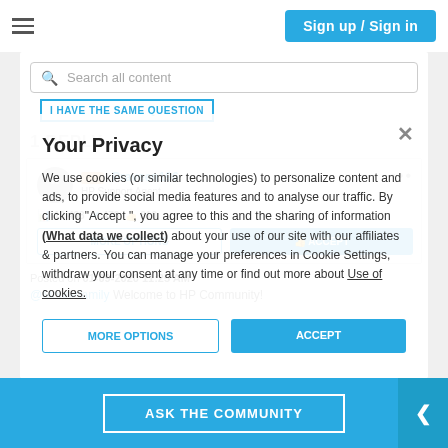Sign up / Sign in
Search all content
Your Privacy
We use cookies (or similar technologies) to personalize content and ads, to provide social media features and to analyse our traffic. By clicking "Accept ", you agree to this and the sharing of information (What data we collect) about your use of our site with our affiliates & partners. You can manage your preferences in Cookie Settings, withdraw your consent at any time or find out more about Use of cookies.
I HAVE THE SAME QUESTION
1 REPLY
HP | Praveen196
HP Support Agent
10,488  478  810
Posted on 01-09-2020 11:25 AM
@Mousefamily Welcome to HP Community!
ASK THE COMMUNITY